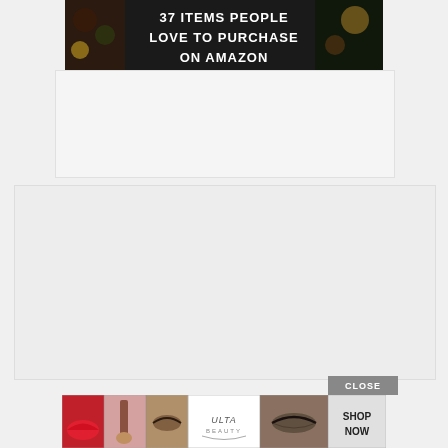[Figure (infographic): Dark-themed banner image showing food items (chocolate, citrus, herbs, spices, mushrooms) arranged on a dark background with bold white text reading '37 ITEMS PEOPLE LOVE TO PURCHASE ON AMAZON']
[Figure (other): Large light gray advertisement placeholder box]
[Figure (other): A close button labeled 'CLOSE' in gray, and an Ulta Beauty advertisement banner showing makeup images (red lips with brush, powder brush, eye with makeup brush, Ulta Beauty logo, eye with dramatic makeup) and a 'SHOP NOW' white text on gray button]